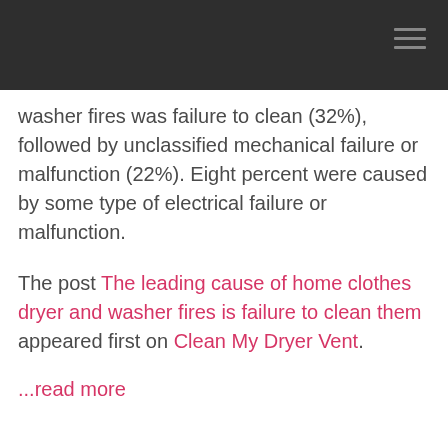washer fires was failure to clean (32%), followed by unclassified mechanical failure or malfunction (22%). Eight percent were caused by some type of electrical failure or malfunction.
The post The leading cause of home clothes dryer and washer fires is failure to clean them appeared first on Clean My Dryer Vent.
...read more